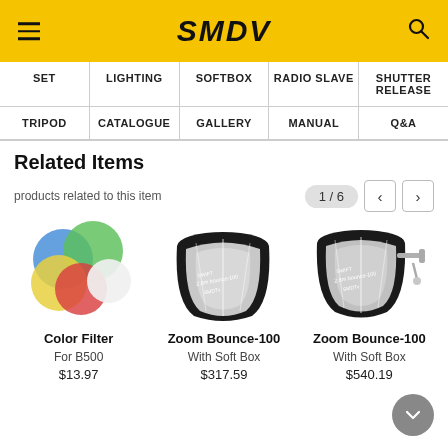SMDV
| SET | LIGHTING | SOFTBOX | RADIO SLAVE | SHUTTER RELEASE |
| --- | --- | --- | --- | --- |
| TRIPOD | CATALOGUE | GALLERY | MANUAL | Q&A |
Related Items
products related to this item
[Figure (photo): Color filter gels - blue, green, yellow, red overlapping circles with white circle]
Color Filter
For B500
$13.97
[Figure (photo): Zoom Bounce-100 softbox - deep parabolic softbox, black exterior silver interior]
Zoom Bounce-100
With Soft Box
$317.59
[Figure (photo): Zoom Bounce-100 with Soft Box mounted on stand bracket]
Zoom Bounce-100
With Soft Box
$540.19